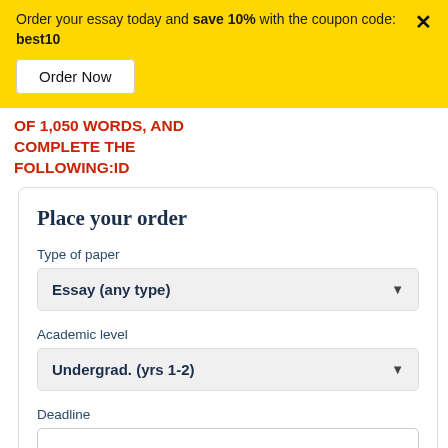Order your essay today and save 10% with the coupon code: best10
Order Now
OF 1,050 WORDS, AND COMPLETE THE FOLLOWING:ID
Place your order
Type of paper
Essay (any type)
Academic level
Undergrad. (yrs 1-2)
Deadline